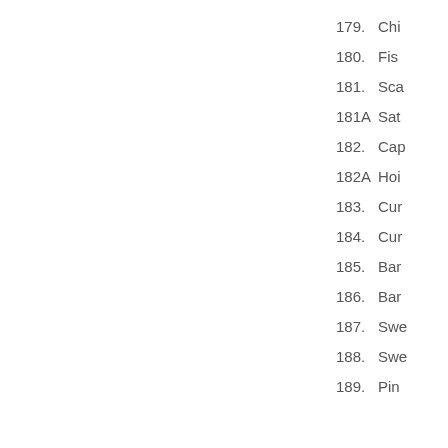179.  Chi
180.  Fis
181.  Sca
181A  Sat
182.  Cap
182A  Hoi
183.  Cur
184.  Cur
185.  Bar
186.  Bar
187.  Swe
188.  Swe
189.  Pin